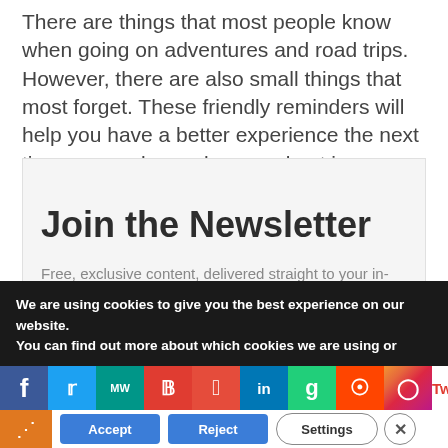There are things that most people know when going on adventures and road trips. However, there are also small things that most forget. These friendly reminders will help you have a better experience the next time you pack your bags and get in a car with your friends.
Join the Newsletter
Free, exclusive content, delivered straight to your in- box. Don't miss a thing!
We are using cookies to give you the best experience on our website.
You can find out more about which cookies we are using or
[Figure (screenshot): Social media sharing icons bar: Facebook, Twitter, MeWe, Parler, Timcast, LinkedIn, Gab, Reddit, Instagram, and Tweet text link]
[Figure (screenshot): Cookie consent buttons bar: share icon (orange), Accept (blue), Reject (blue), Settings (outlined), close X (outlined circle)]